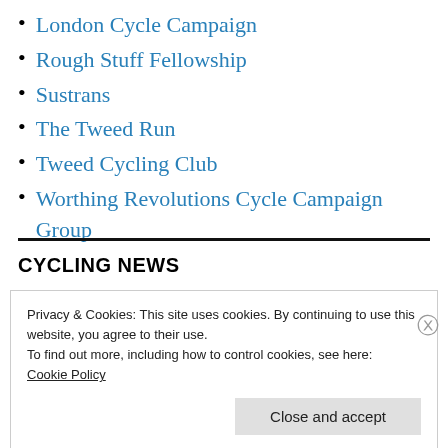London Cycle Campaign
Rough Stuff Fellowship
Sustrans
The Tweed Run
Tweed Cycling Club
Worthing Revolutions Cycle Campaign Group
CYCLING NEWS
Privacy & Cookies: This site uses cookies. By continuing to use this website, you agree to their use.
To find out more, including how to control cookies, see here:
Cookie Policy

Close and accept